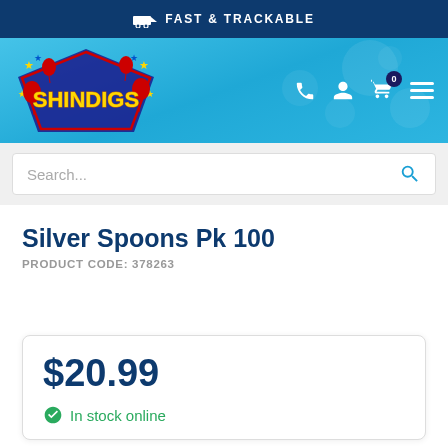FAST & TRACKABLE
[Figure (logo): Shindigs party supplies logo with colorful balloons and stars on a blue background header]
Search...
Silver Spoons Pk 100
PRODUCT CODE: 378263
$20.99
In stock online